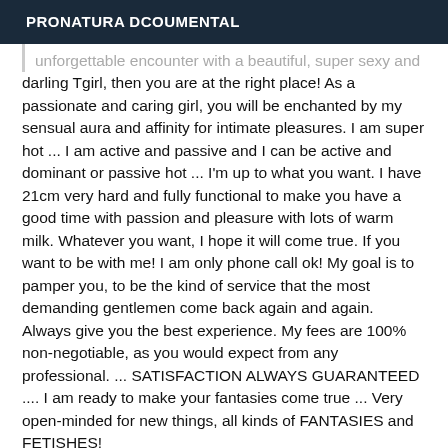PRONATURA DCOUMENTAL
unforgettable encounter with a beautiful, super sexy and darling Tgirl, then you are at the right place! As a passionate and caring girl, you will be enchanted by my sensual aura and affinity for intimate pleasures. I am super hot ... I am active and passive and I can be active and dominant or passive hot ... I'm up to what you want. I have 21cm very hard and fully functional to make you have a good time with passion and pleasure with lots of warm milk. Whatever you want, I hope it will come true. If you want to be with me! I am only phone call ok! My goal is to pamper you, to be the kind of service that the most demanding gentlemen come back again and again. Always give you the best experience. My fees are 100% non-negotiable, as you would expect from any professional. ... SATISFACTION ALWAYS GUARANTEED .... I am ready to make your fantasies come true ... Very open-minded for new things, all kinds of FANTASIES and FETISHES!